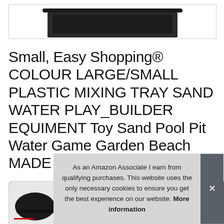[Figure (photo): Top portion of a black plastic mixing tray product photo, cropped at top of page]
Small, Easy Shopping® COLOUR LARGE/SMALL PLASTIC MIXING TRAY SAND WATER PLAY_BUILDER EQUIMENT Toy Sand Pool Pit Water Game Garden Beach MADE IN UK Black
[Figure (photo): Row of product thumbnail images showing the mixing tray from different angles]
As an Amazon Associate I earn from qualifying purchases. This website uses the only necessary cookies to ensure you get the best experience on our website. More information